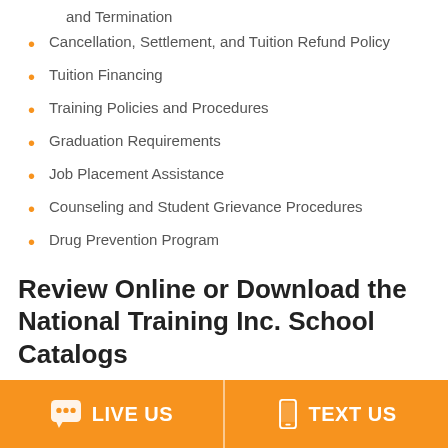and Termination
Cancellation, Settlement, and Tuition Refund Policy
Tuition Financing
Training Policies and Procedures
Graduation Requirements
Job Placement Assistance
Counseling and Student Grievance Procedures
Drug Prevention Program
Review Online or Download the National Training Inc. School Catalogs
LIVE US  |  TEXT US